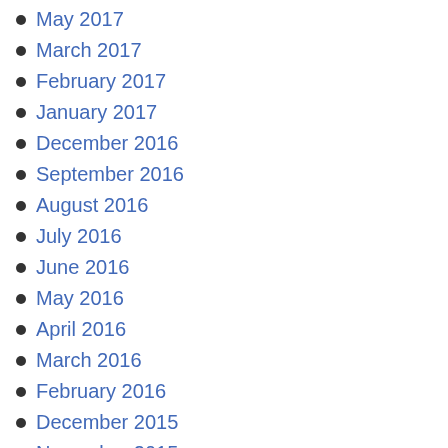May 2017
March 2017
February 2017
January 2017
December 2016
September 2016
August 2016
July 2016
June 2016
May 2016
April 2016
March 2016
February 2016
December 2015
November 2015
October 2015
September 2015
August 2015
July 2015